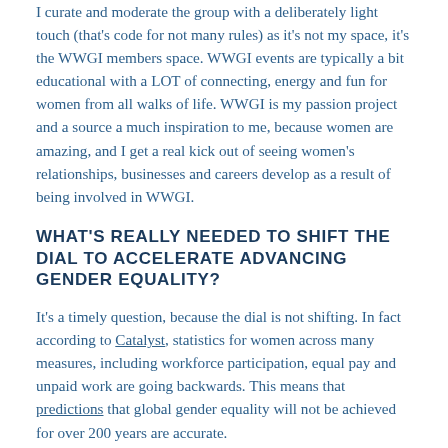I curate and moderate the group with a deliberately light touch (that's code for not many rules) as it's not my space, it's the WWGI members space. WWGI events are typically a bit educational with a LOT of connecting, energy and fun for women from all walks of life. WWGI is my passion project and a source a much inspiration to me, because women are amazing, and I get a real kick out of seeing women's relationships, businesses and careers develop as a result of being involved in WWGI.
WHAT'S REALLY NEEDED TO SHIFT THE DIAL TO ACCELERATE ADVANCING GENDER EQUALITY?
It's a timely question, because the dial is not shifting. In fact according to Catalyst, statistics for women across many measures, including workforce participation, equal pay and unpaid work are going backwards. This means that predictions that global gender equality will not be achieved for over 200 years are accurate.
My own research also shows the continuing disparity between